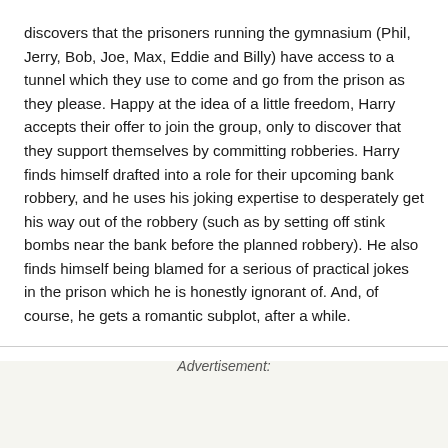discovers that the prisoners running the gymnasium (Phil, Jerry, Bob, Joe, Max, Eddie and Billy) have access to a tunnel which they use to come and go from the prison as they please. Happy at the idea of a little freedom, Harry accepts their offer to join the group, only to discover that they support themselves by committing robberies. Harry finds himself drafted into a role for their upcoming bank robbery, and he uses his joking expertise to desperately get his way out of the robbery (such as by setting off stink bombs near the bank before the planned robbery). He also finds himself being blamed for a serious of practical jokes in the prison which he is honestly ignorant of. And, of course, he gets a romantic subplot, after a while.
Advertisement: